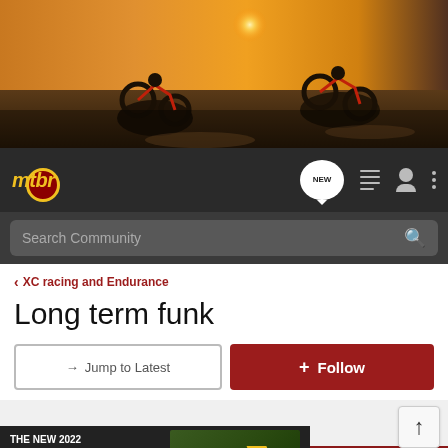[Figure (photo): Mountain bikers riding on a dirt trail with a sunset background, action shot]
[Figure (screenshot): MTBR website navigation bar with logo, NEW chat bubble, list icon, user icon, dots menu icon]
[Figure (screenshot): Search Community search bar]
< XC racing and Endurance
Long term funk
→ Jump to Latest
+ Follow
[Figure (screenshot): Scroll to top button with upward arrow]
REVIEWS   DEALS   BIKESHOPS   TRAILS
[Figure (advertisement): Chevrolet advertisement: THE NEW 2022 SILVERADO. Explore button. Chevy truck image with Chevrolet logo.]